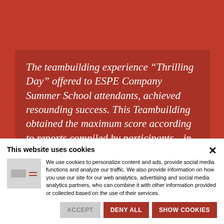[Figure (photo): Red background area with darker red inner box containing italic white quote text about teambuilding experience]
The teambuilding experience “Thrilling Day” offered to ESPE Company Summer School attendants, achieved resounding success. This Teambuilding obtained the maximum score according to reports compiled by participants…in many cases fellows
This website uses cookies
We use cookies to personalize content and ads, provide social media functions and analyze our traffic. We also provide information on how you use our site for our web analytics, advertising and social media analytics partners, who can combine it with other information provided or collected based on the use of their services.